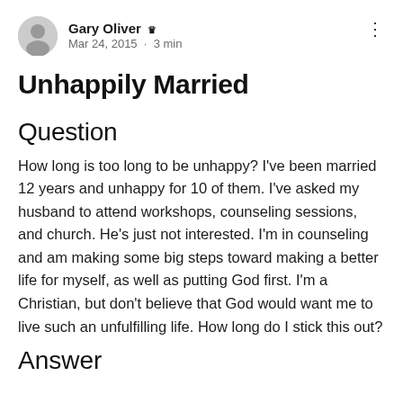Gary Oliver ▪ Mar 24, 2015 · 3 min
Unhappily Married
Question
How long is too long to be unhappy? I've been married 12 years and unhappy for 10 of them. I've asked my husband to attend workshops, counseling sessions, and church. He's just not interested. I'm in counseling and am making some big steps toward making a better life for myself, as well as putting God first. I'm a Christian, but don't believe that God would want me to live such an unfulfilling life. How long do I stick this out?
Answer